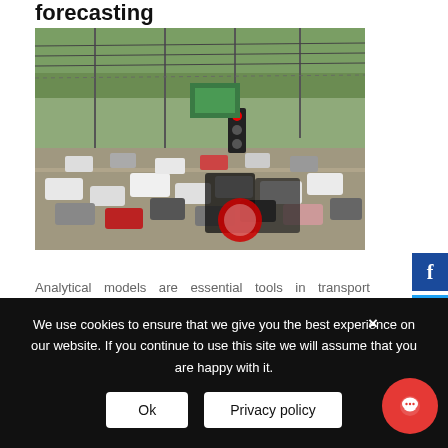forecasting
[Figure (photo): Aerial view of busy urban traffic intersection with multiple vehicles, traffic lights, and utility poles]
Analytical models are essential tools in transport planning and in forecasting traffic and revenue from toll roads and
We use cookies to ensure that we give you the best experience on our website. If you continue to use this site we will assume that you are happy with it.
Ok
Privacy policy